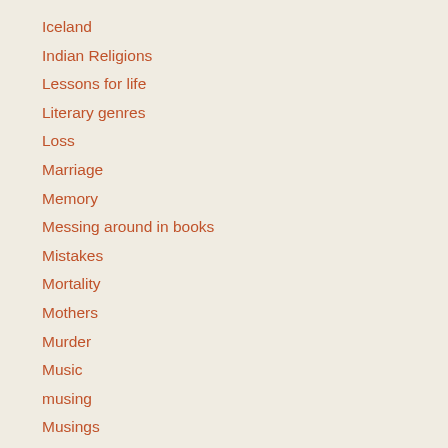Iceland
Indian Religions
Lessons for life
Literary genres
Loss
Marriage
Memory
Messing around in books
Mistakes
Mortality
Mothers
Murder
Music
musing
Musings